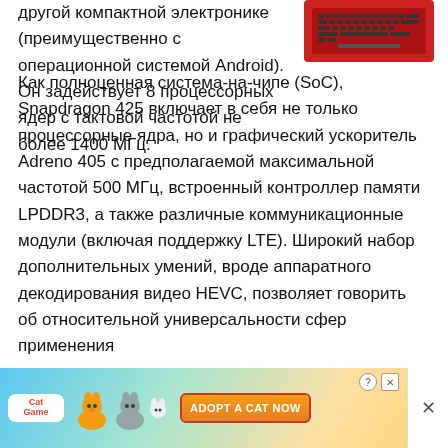[Figure (photo): Red laptop/tablet device image in upper right corner]
другой компактной электронике (преимущественно с операционной системой Android). Он задействует 8 процессорных ядер с тактовой частотой не более 1400 МГц.
Как полноценная система-на-чипе (SoC), Snapdragon 425 включает в себя не только процессорные ядра, но и графический ускоритель Adreno 405 с предполагаемой максимальной частотой 500 МГц, встроенный контроллер памяти LPDDR3, а также различные коммуникационные модули (включая поддержку LTE). Широкий набор дополнительных умений, вроде аппаратного декодирования видео HEVC, позволяет говорить об относительной универсальности сфер применения
[Figure (illustration): Advertisement banner: Cat game ad with cartoon cats, colorful background, and 'ADOPT A CAT NOW' button]